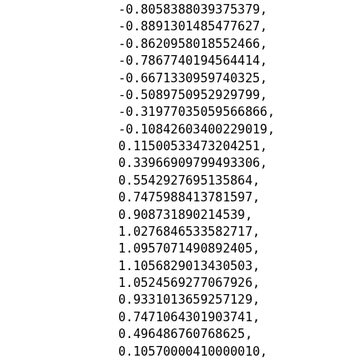-0.8058388039375379,
-0.8891301485477627,
-0.8620958018552466,
-0.7867740194564414,
-0.6671330959740325,
-0.5089750952929799,
-0.3197703505956686 6,
-0.10842603400229019,
0.11500533473204251,
0.33966909799493306,
0.5542927695135864,
0.7475988413781597,
0.9087318902145 39,
1.0276846533582717,
1.0957071490892405,
1.1056829013430503,
1.0524569277067926,
0.9331013659257129,
0.7471064301903741,
0.4964867 60768625,
0.10570000410000010,